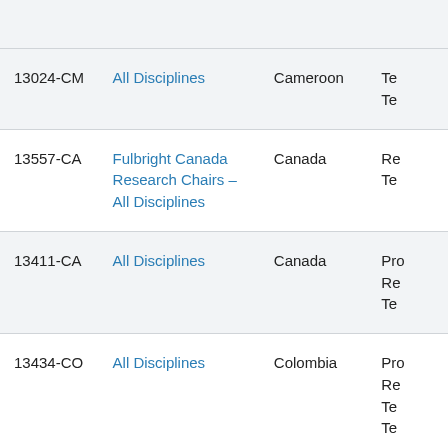|  |  |  |  |
| --- | --- | --- | --- |
|  |  |  |  |
| 13024-CM | All Disciplines | Cameroon | Te...
Te... |
| 13557-CA | Fulbright Canada Research Chairs – All Disciplines | Canada | Re...
Te... |
| 13411-CA | All Disciplines | Canada | Pro...
Re...
Te... |
| 13434-CO | All Disciplines | Colombia | Pro...
Re...
Te...
Te... |
| 13435-CS | All Disciplines | Costa Rica | Pro...
Re...
Te...
Te... |